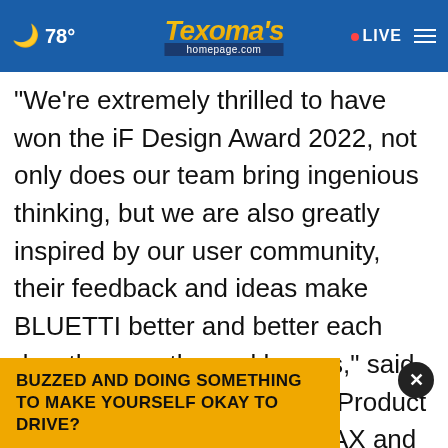78° Texoma's homepage.com LIVE
"We're extremely thrilled to have won the iF Design Award 2022, not only does our team bring ingenious thinking, but we are also greatly inspired by our user community, their feedback and ideas make BLUETTI better and better each day, they are the real heroes," said James Ray, Chief Officer of Product in BLUETTI. "Now AC200MAX and EB55 become award-winning products, apparently our efforts and enthusiasm have been rewarded, but we won't stop
BUZZED AND DOING SOMETHING TO MAKE YOURSELF OKAY TO DRIVE?